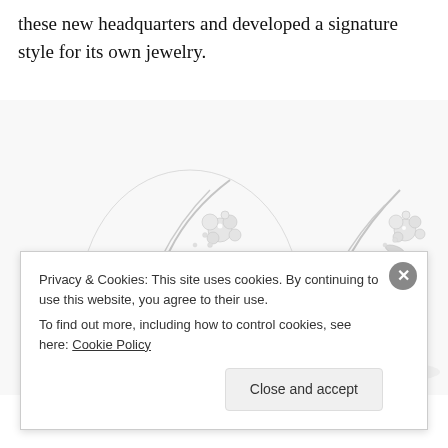these new headquarters and developed a signature style for its own jewelry.
[Figure (photo): Photograph of an ornate diamond and white gold floral jewelry piece (necklace or tiara) with intricate leaf and flower motifs set with pavé diamonds, shown against a white background. The piece curves in a U-shape with dense floral clusters on both sides.]
Privacy & Cookies: This site uses cookies. By continuing to use this website, you agree to their use.
To find out more, including how to control cookies, see here: Cookie Policy
Close and accept